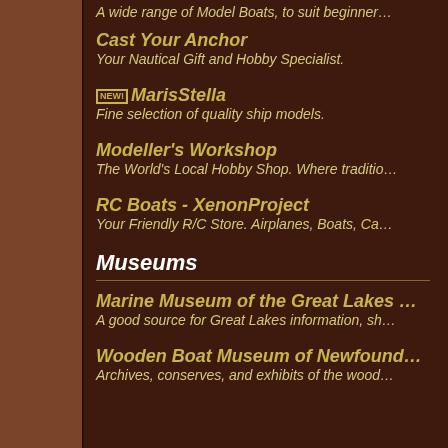A wide range of Model Boats, to suit beginner…
Cast Your Anchor — Your Nautical Gift and Hobby Specialist.
NEW! MarisStella — Fine selection of quality ship models.
Modeller's Workshop — The World's Local Hobby Shop. Where traditio…
RC Boats - XenonProject — Your Friendly R/C Store. Airplanes, Boats, Ca…
Museums
Marine Museum of the Great Lakes — A good source for Great Lakes information, sh…
Wooden Boat Museum of Newfound… — Archives, conserves, and exhibits of the wood…